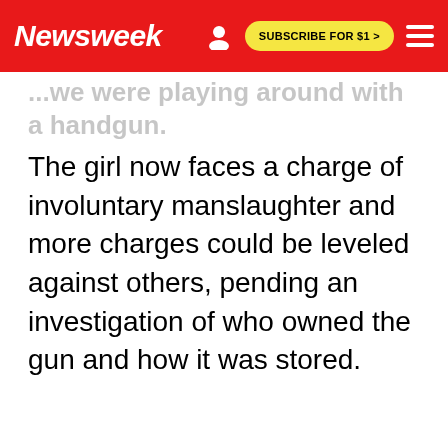Newsweek | SUBSCRIBE FOR $1 >
...we were playing around with a handgun.
The girl now faces a charge of involuntary manslaughter and more charges could be leveled against others, pending an investigation of who owned the gun and how it was stored.